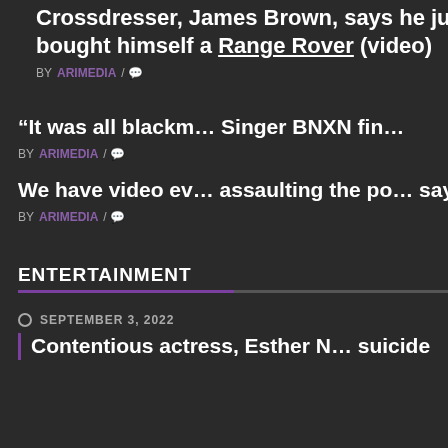Crossdresser, James Brown, says he just bought himself a Range Rover (video)
BY ARIMEDIA / comment-icon
“It was all blackmail” Singer BNXN fin…
BY ARIMEDIA / comment-icon
We have video ev… assaulting the po… says
BY ARIMEDIA / comment-icon
ENTERTAINMENT
SEPTEMBER 3, 2022
Contentious actress, Esther N… suicide
ALLURE WOMAN HAPI…
Chef Fregz ar… Kemi Lala we… boy
ALLURE MAGAZINE M…
Star Boy, Wiz… all concerts i… and January … doctor’s advic…
ENTERTAINMENT NE…
Actress, Funk… calls out fans… celebrate wit… Paul on birth…